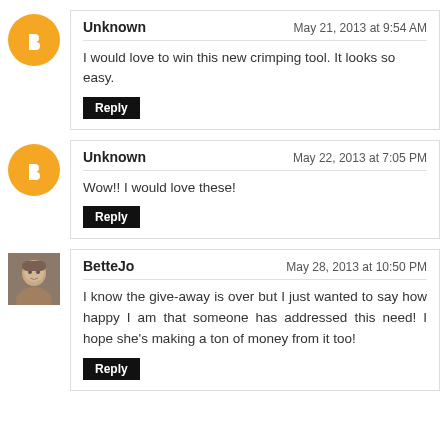Unknown — May 21, 2013 at 9:54 AM
I would love to win this new crimping tool. It looks so easy.
[Reply]
Unknown — May 22, 2013 at 7:05 PM
Wow!! I would love these!
[Reply]
BetteJo — May 28, 2013 at 10:50 PM
I know the give-away is over but I just wanted to say how happy I am that someone has addressed this need! I hope she's making a ton of money from it too!
[Reply]